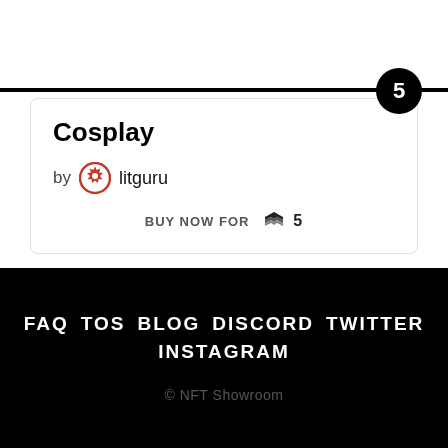Cosplay
by litguru
BUY NOW FOR  5
FAQ  TOS  BLOG  DISCORD  TWITTER  INSTAGRAM
© NFT Showroom